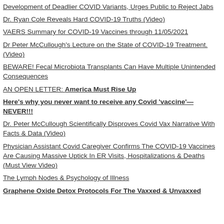Development of Deadlier COVID Variants, Urges Public to Reject Jabs
Dr. Ryan Cole Reveals Hard COVID-19 Truths (Video)
VAERS Summary for COVID-19 Vaccines through 11/05/2021
Dr Peter McCullough's Lecture on the State of COVID-19 Treatment. (Video)
BEWARE! Fecal Microbiota Transplants Can Have Multiple Unintended Consequences
AN OPEN LETTER: America Must Rise Up
Here's why you never want to receive any Covid 'vaccine'—NEVER!!!
Dr. Peter McCullough Scientifically Disproves Covid Vax Narrative With Facts & Data (Video)
Physician Assistant Covid Caregiver Confirms The COVID-19 Vaccines Are Causing Massive Uptick In ER Visits, Hospitalizations & Deaths (Must View Video)
The Lymph Nodes & Psychology of Illness
Graphene Oxide Detox Protocols For The Vaxxed & Unvaxxed